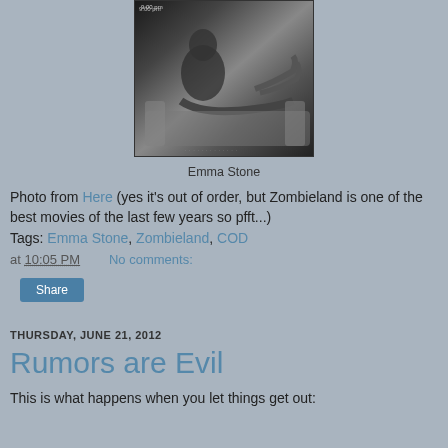[Figure (photo): Black and white photo of Emma Stone lying on a couch/sofa, with text '9:00 pm' visible at top]
Emma Stone
Photo from Here (yes it's out of order, but Zombieland is one of the best movies of the last few years so pfft...)
Tags: Emma Stone, Zombieland, COD
at 10:05 PM   No comments:
Share
THURSDAY, JUNE 21, 2012
Rumors are Evil
This is what happens when you let things get out: